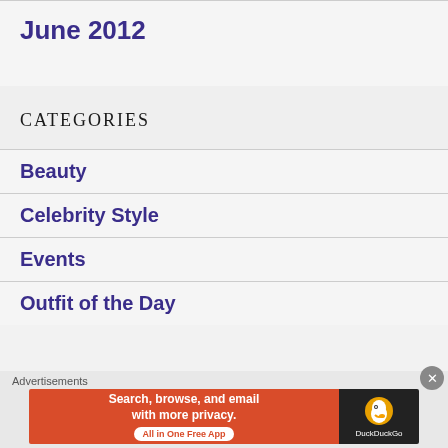June 2012
CATEGORIES
Beauty
Celebrity Style
Events
Outfit of the Day
[Figure (other): DuckDuckGo advertisement banner: 'Search, browse, and email with more privacy. All in One Free App']